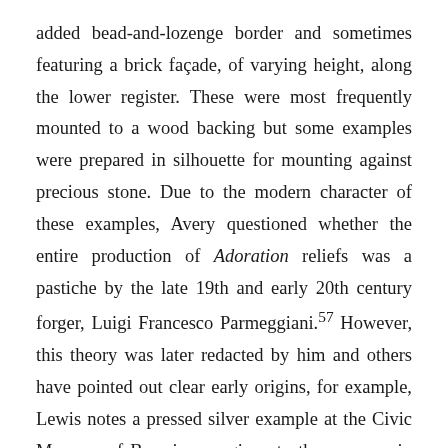added bead-and-lozenge border and sometimes featuring a brick façade, of varying height, along the lower register. These were most frequently mounted to a wood backing but some examples were prepared in silhouette for mounting against precious stone. Due to the modern character of these examples, Avery questioned whether the entire production of Adoration reliefs was a pastiche by the late 19th and early 20th century forger, Luigi Francesco Parmeggiani.57 However, this theory was later redacted by him and others have pointed out clear early origins, for example, Lewis notes a pressed silver example at the Civic Museum of Brescia was given to the museum in 1828 by Gabriele Scovoli and another example in that same museum has on its reverse the written date of 1804. Lewis also notes an example at the Castello